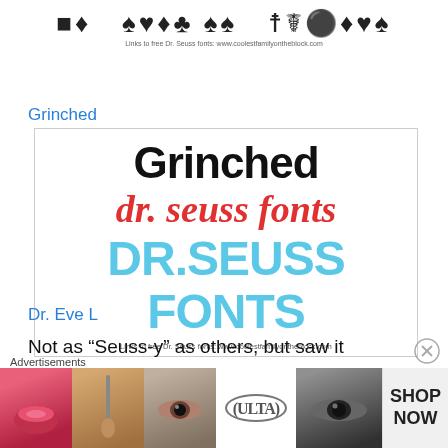[Figure (illustration): Decorative font symbols and characters displayed in a custom Dr. Seuss-style font, with a small caption below reading 'Links to free Dr. Seuss fonts: www.coolestfamilyontheblock.com']
Grinched
[Figure (illustration): Font specimen showing 'Grinched' in large black stylized text, 'dr. seuss fonts' in red italic, and 'DR.SEUSS FONTS' in large light blue bold text, with caption 'Links to free Dr. Seuss fonts: www.coolestfamilyontheblock.com']
Dr. Eve L
Not as “Seuss-y” as others, but saw it recommended in a
Advertisements
[Figure (photo): Advertisement banner showing beauty/makeup images including lips, makeup brush, eye, ULTA beauty logo, eye closeup, and SHOP NOW button]